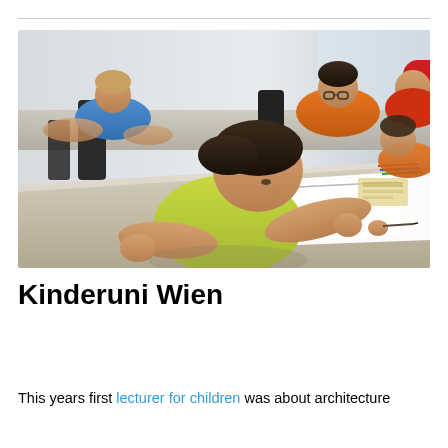[Figure (photo): Children sitting at desks in a classroom, drawing or writing. A boy in a yellow-green t-shirt is prominently in the foreground, leaning over a white sheet of paper. Other children in the background include kids wearing blue and orange shirts.]
Kinderuni Wien
This years first lecturer for children was about architecture